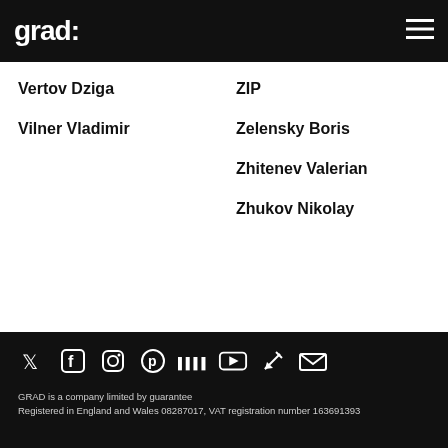grad:
Vertov Dziga
Vilner Vladimir
ZIP
Zelensky Boris
Zhitenev Valerian
Zhukov Nikolay
GRAD is a company limited by guarantee
Registered in England and Wales 08287017, VAT registration number 163691393